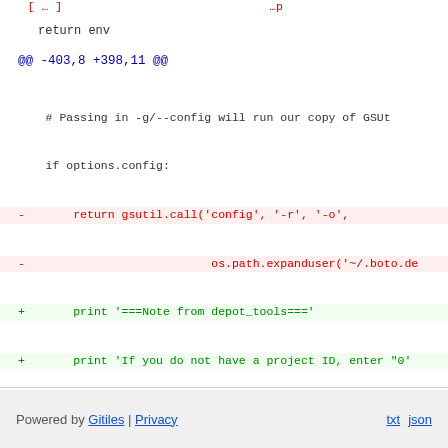return env
@@ -403,8 +398,11 @@
# Passing in -g/--config will run our copy of GSUt-
    if options.config:
-       return gsutil.call('config', '-r', '-o',
-                           os.path.expanduser('~/.boto.de
+       print '===Note from depot_tools==='
+       print 'If you do not have a project ID, enter "0'
+       print '===End note from depot_tools==='
+       print
+       return gsutil.call('config')
if not args:
        parser.error('Missing target.')
Powered by Gitiles | Privacy    txt  json